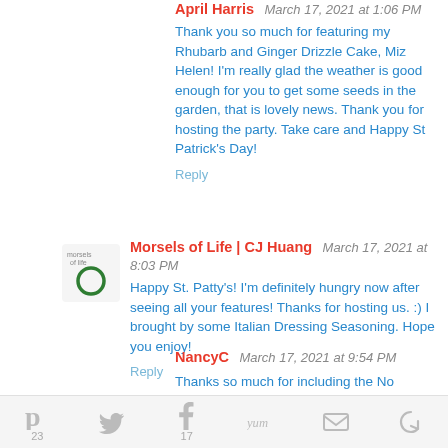April Harris  March 17, 2021 at 1:06 PM
Thank you so much for featuring my Rhubarb and Ginger Drizzle Cake, Miz Helen! I'm really glad the weather is good enough for you to get some seeds in the garden, that is lovely news. Thank you for hosting the party. Take care and Happy St Patrick's Day!
Reply
[Figure (logo): Small circular logo for Morsels of Life blog, green ring on white background]
Morsels of Life | CJ Huang  March 17, 2021 at 8:03 PM
Happy St. Patty's! I'm definitely hungry now after seeing all your features! Thanks for hosting us. :) I brought by some Italian Dressing Seasoning. Hope you enjoy!
Reply
NancyC  March 17, 2021 at 9:54 PM
Thanks so much for including the No Knead
23  17